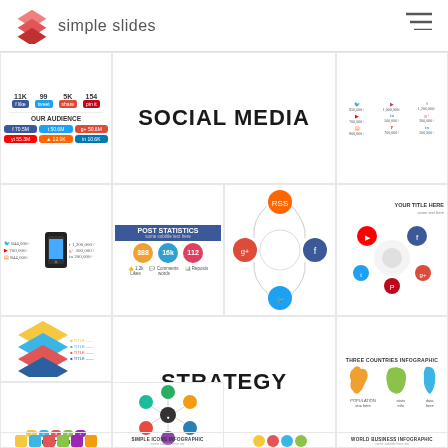simple slides
[Figure (infographic): Social media statistics thumbnail showing 11K, 99, 5K, 154 stats with Facebook, Twitter, Pinterest badges and 'Our Audience' section with colored social media platform badges]
SOCIAL MEDIA
[Figure (infographic): Social media follower counts grid showing icons for Twitter, Instagram, Facebook, YouTube, LinkedIn, Google+, RSS, Pinterest with follower numbers like 850,000+, 1,000,000+, 1,200,000+]
[Figure (infographic): Social media icons thumbnail with Twitter, Facebook, Google+, Pinterest circles]
[Figure (infographic): Social media thumbnail with phone and platform icons]
[Figure (infographic): Post Statistics slide showing circles with numbers 388, 16k, 112 and stats for likes, comments, reposts]
[Figure (infographic): Social media circular flow diagram with RSS, Facebook, Twitter, Google+ icons]
[Figure (infographic): Social media bubble diagram with 'YOUR TITLE HERE' label and icons for YouTube, Facebook, Twitter, Pinterest, Google+]
[Figure (infographic): Pyramid infographic with colored layers and labels]
[Figure (infographic): Circular process infographic with colorful icons]
[Figure (infographic): Strategy icons infographic with dollar sign, people, and other icons]
[Figure (infographic): Circular process with dark circles and colored connecting icons]
[Figure (infographic): Timeline/process infographic with icons and text labels]
STRATEGY
[Figure (infographic): Three Countries Infographic showing country silhouettes for what appears to be UK, Germany, and Italy with statistics]
[Figure (infographic): Funnel/arrow infographic with Your Title Here label and colored oval shapes]
[Figure (infographic): Circular hexagon infographic with connected nodes]
[Figure (infographic): Simple Icons Infographic label strip]
[Figure (infographic): Bottom strip of colored infographic icons]
[Figure (infographic): World Business Infographic label strip]